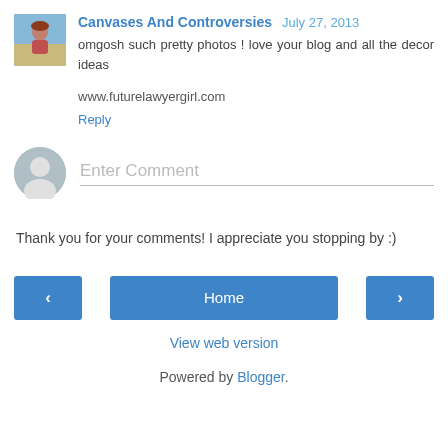Canvases And Controversies  July 27, 2013
omgosh such pretty photos ! love your blog and all the decor ideas

www.futurelawyergirl.com

Reply
[Figure (photo): Small avatar photo of a person (blog commenter profile picture)]
[Figure (illustration): Generic gray circular user avatar placeholder for comment entry]
Enter Comment
Thank you for your comments! I appreciate you stopping by :)
< (previous) | Home | > (next)
View web version
Powered by Blogger.